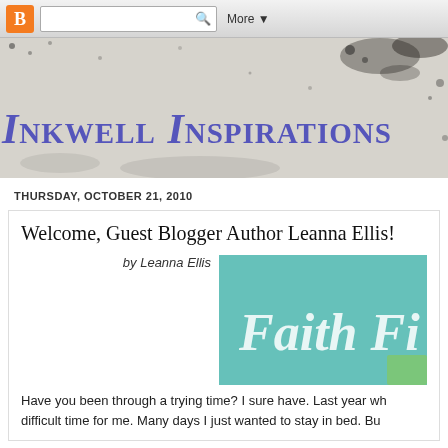Blogger navigation bar with B logo, search box, More button
[Figure (illustration): Inkwell Inspirations blog header with distressed/splattered texture background in grey tones]
Inkwell Inspirations
THURSDAY, OCTOBER 21, 2010
Welcome, Guest Blogger Author Leanna Ellis!
[Figure (photo): Teal/turquoise book cover showing 'Faith F...' text in old English style lettering]
by Leanna Ellis
Have you been through a trying time? I sure have. Last year wh... difficult time for me. Many days I just wanted to stay in bed. Bu...